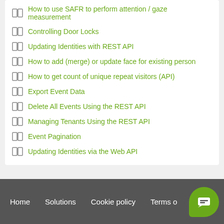How to use SAFR to perform attention / gaze measurement
Controlling Door Locks
Updating Identities with REST API
How to add (merge) or update face for existing person
How to get count of unique repeat visitors (API)
Export Event Data
Delete All Events Using the REST API
Managing Tenants Using the REST API
Event Pagination
Updating Identities via the Web API
Home   Solutions   Cookie policy   Terms o...